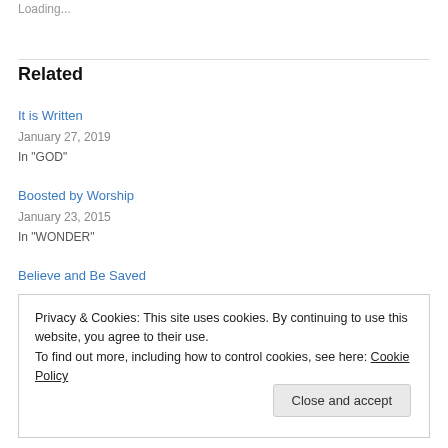Loading...
Related
It is Written
January 27, 2019
In "GOD"
Boosted by Worship
January 23, 2015
In "WONDER"
Believe and Be Saved
Privacy & Cookies: This site uses cookies. By continuing to use this website, you agree to their use.
To find out more, including how to control cookies, see here: Cookie Policy